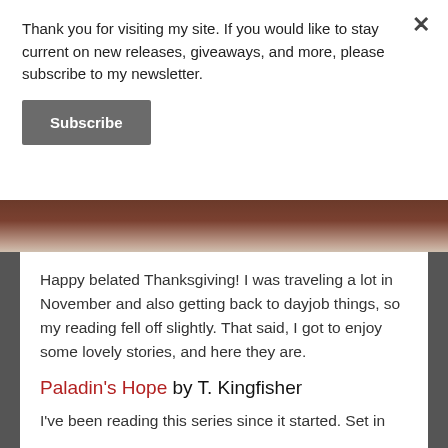Thank you for visiting my site. If you would like to stay current on new releases, giveaways, and more, please subscribe to my newsletter.
Subscribe
[Figure (photo): Close-up photo of a leather book spine or chair with reddish-brown tones]
Happy belated Thanksgiving! I was traveling a lot in November and also getting back to dayjob things, so my reading fell off slightly. That said, I got to enjoy some lovely stories, and here they are.
Paladin's Hope by T. Kingfisher
I've been reading this series since it started. Set in